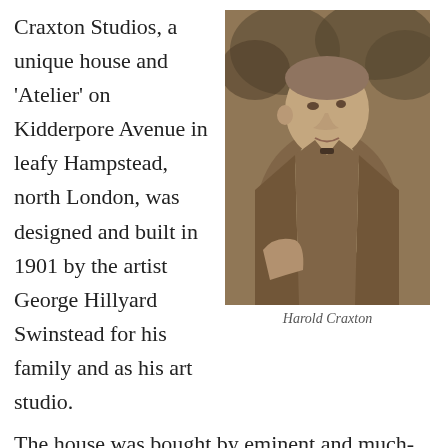Craxton Studios, a unique house and 'Atelier' on Kidderpore Avenue in leafy Hampstead, north London, was designed and built in 1901 by the artist George Hillyard Swinstead for his family and as his art studio.
[Figure (photo): Sepia-toned photograph of Harold Craxton, a middle-aged man in a tweed jacket and light sweater, standing outdoors with trees in the background, facing slightly to his left.]
Harold Craxton
The house was bought by eminent and much-loved pianist and teacher Harold Craxton and